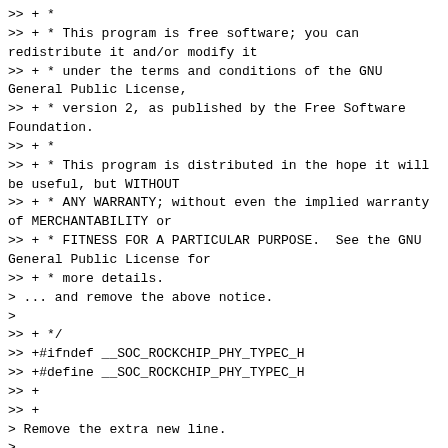>> + *
>> + * This program is free software; you can redistribute it and/or modify it
>> + * under the terms and conditions of the GNU General Public License,
>> + * version 2, as published by the Free Software Foundation.
>> + *
>> + * This program is distributed in the hope it will be useful, but WITHOUT
>> + * ANY WARRANTY; without even the implied warranty of MERCHANTABILITY or
>> + * FITNESS FOR A PARTICULAR PURPOSE.  See the GNU General Public License for
>> + * more details.
> ... and remove the above notice.
>
>> + */
>> +#ifndef __SOC_ROCKCHIP_PHY_TYPEC_H
>> +#define __SOC_ROCKCHIP_PHY_TYPEC_H
>> +
>> +
> Remove the extra new line.
>
>> +struct usb3phy_reg {
>> +        u32 offset;
>> +        u32 enable_bit;
>> +        u32 write_enable;
>> +};
>> +